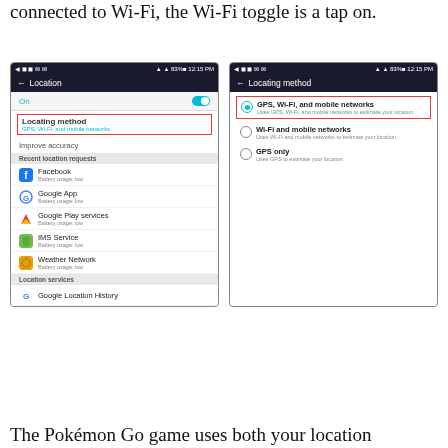connected to Wi-Fi, the Wi-Fi toggle is a tap on.
[Figure (screenshot): Two Android phone screenshots side by side. Left screenshot shows the Location settings screen with 'Locating method' highlighted in red, showing GPS, Wi-Fi, and mobile networks selected. Right screenshot shows the Locating method screen with 'GPS, Wi-Fi, and mobile networks' option selected and highlighted in red.]
The Pokémon Go game uses both your location